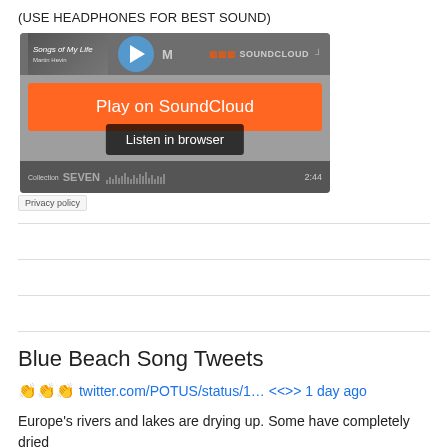(USE HEADPHONES FOR BEST SOUND)
[Figure (screenshot): SoundCloud embedded player showing 'Songs of My Life by Martin Hevin' with a blue play button, orange 'Play on SoundCloud' button, and 'Listen in browser' tooltip. Shows duration 2:44 and a waveform. Privacy policy badge at bottom left.]
Blue Beach Song Tweets
👏👏👏 twitter.com/POTUS/status/1… <<>> 1 day ago
Europe's rivers and lakes are drying up. Some have completely dried